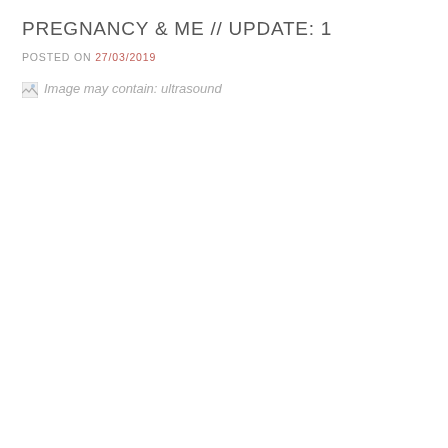PREGNANCY & ME // UPDATE: 1
POSTED ON 27/03/2019
[Figure (photo): Broken image placeholder with alt text: Image may contain: ultrasound]